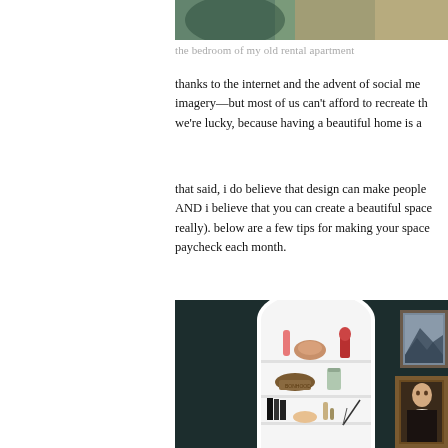[Figure (photo): Top portion of a bedroom photo, partial view showing warm tones]
the bedroom of my old rental apartment
thanks to the internet and the advent of social me- imagery—but most of us can't afford to recreate th- we're lucky, because having a beautiful home is a
that said, i do believe that design can make people AND i believe that you can create a beautiful space really). below are a few tips for making your space paycheck each month.
[Figure (photo): Interior photo of a dark teal/navy wall with a white arched built-in bookshelf containing decorative objects, books, and a candle. Two framed artworks hang on the right wall.]